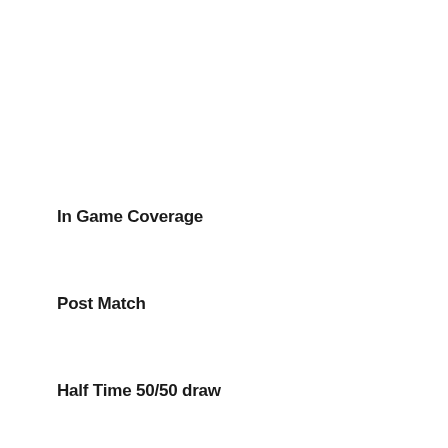In Game Coverage
Post Match
Half Time 50/50 draw